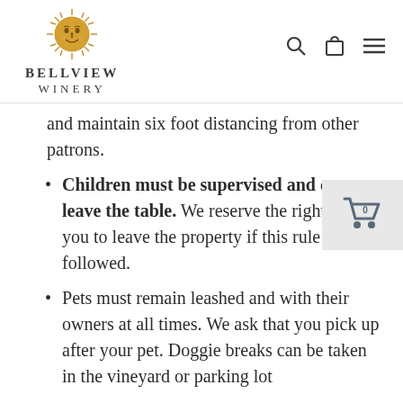[Figure (logo): Bellview Winery logo with sun face illustration above text reading BELLVIEW WINERY]
and maintain six foot distancing from other patrons.
Children must be supervised and cannot leave the table. We reserve the right to ask you to leave the property if this rule is not followed.
Pets must remain leashed and with their owners at all times. We ask that you pick up after your pet. Doggie breaks can be taken in the vineyard or parking lot
Tables cannot be moved or